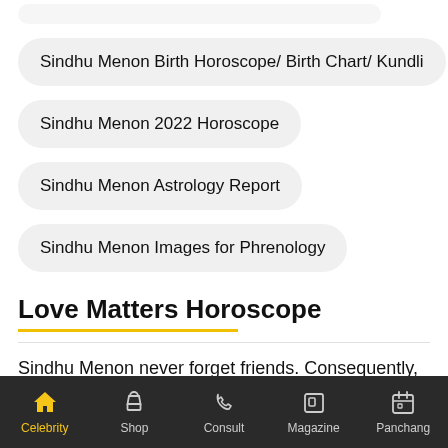Sindhu Menon Birth Horoscope/ Birth Chart/ Kundli
Sindhu Menon 2022 Horoscope
Sindhu Menon Astrology Report
Sindhu Menon Images for Phrenology
Love Matters Horoscope
Sindhu Menon never forget friends. Consequently, Sindhu Menon have a large circle of acquaintances, many of them
Celebrity  Shop  Consult  Magazine  Panchang